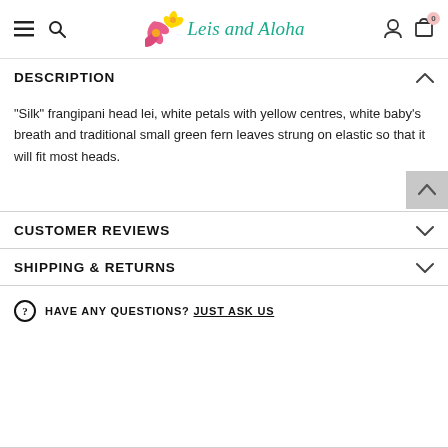Leis and Aloha - site navigation header
DESCRIPTION
"Silk" frangipani head lei, white petals with yellow centres, white baby's breath and traditional small green fern leaves strung on elastic so that it will fit most heads.
CUSTOMER REVIEWS
SHIPPING & RETURNS
HAVE ANY QUESTIONS? JUST ASK US